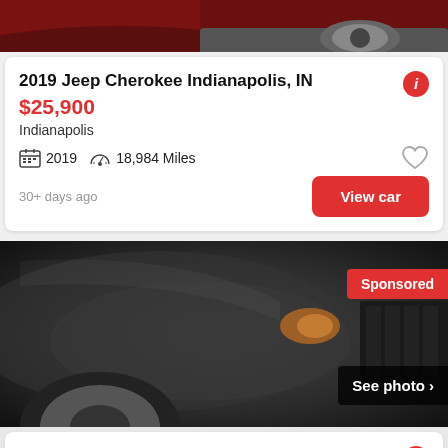[Figure (photo): Partial view of a dark red car, showing wheel and lower body at the top of the page]
2019 Jeep Cherokee Indianapolis, IN
$25,900
Indianapolis
2019   18,984 Miles
30+ days ago
View car
[Figure (photo): Dark gray/black Jeep Grand Cherokee front quarter view in parking lot, with Sponsored badge and See photo button]
2017 Jeep Grand Cherokee Laredo Indianapolis